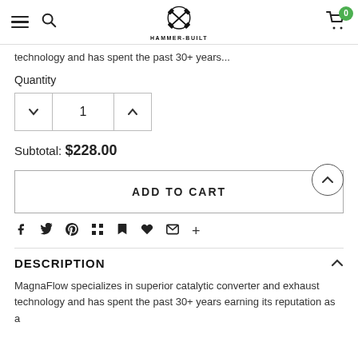Hammer-Built — navigation header with logo, search, and cart (0 items)
technology and has spent the past 30+ years...
Quantity
Subtotal: $228.00
ADD TO CART
Social share icons: Facebook, Twitter, Pinterest, Grid, Bookmark, Heart, Email, Plus
DESCRIPTION
MagnaFlow specializes in superior catalytic converter and exhaust technology and has spent the past 30+ years earning its reputation as a